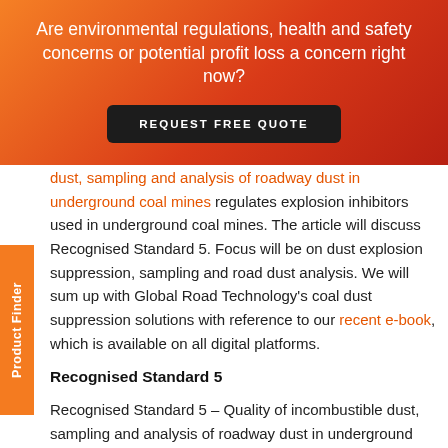Are environmental regulations, health and safety concerns or potential profit loss a concern right now?
REQUEST FREE QUOTE
dust, sampling and analysis of roadway dust in underground coal mines regulates explosion inhibitors used in underground coal mines. The article will discuss Recognised Standard 5. Focus will be on dust explosion suppression, sampling and road dust analysis. We will sum up with Global Road Technology's coal dust suppression solutions with reference to our recent e-book, which is available on all digital platforms.
Product Finder
Recognised Standard 5
Recognised Standard 5 – Quality of incombustible dust, sampling and analysis of roadway dust in underground coal mines was issued under the authority of the Minister for